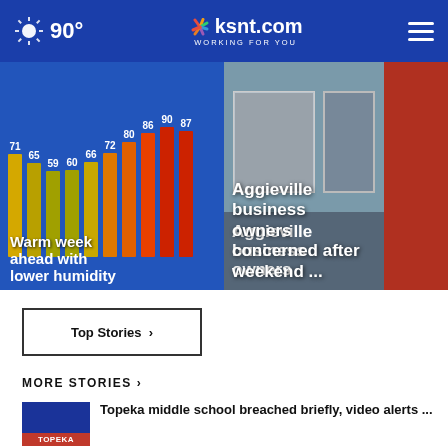90° ksnt.com WORKING FOR YOU
[Figure (bar-chart): Warm week ahead with lower humidity]
[Figure (photo): Aggieville storefront with red wall visible]
Warm week ahead with lower humidity
Aggieville business owners concerned after weekend ...
Top Stories ›
MORE STORIES ›
Topeka middle school breached briefly, video alerts ...